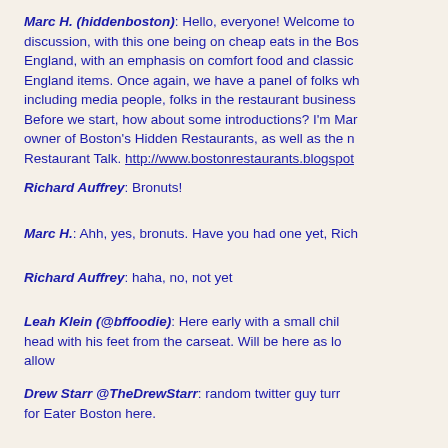Marc H. (hiddenboston): Hello, everyone! Welcome to discussion, with this one being on cheap eats in the Boston New England, with an emphasis on comfort food and classic New England items. Once again, we have a panel of folks who, including media people, folks in the restaurant business, Before we start, how about some introductions? I'm Marc, owner of Boston's Hidden Restaurants, as well as the n Restaurant Talk. http://www.bostonrestaurants.blogspot
Richard Auffrey: Bronuts!
Marc H.: Ahh, yes, bronuts. Have you had one yet, Rich
Richard Auffrey: haha, no, not yet
Leah Klein (@bffoodie): Here early with a small chil head with his feet from the carseat. Will be here as long allow
Drew Starr @TheDrewStarr: random twitter guy turn for Eater Boston here.